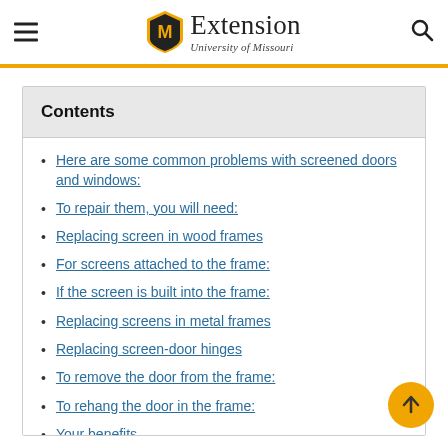Extension University of Missouri
Contents
Here are some common problems with screened doors and windows:
To repair them, you will need:
Replacing screen in wood frames
For screens attached to the frame:
If the screen is built into the frame:
Replacing screens in metal frames
Replacing screen-door hinges
To remove the door from the frame:
To rehang the door in the frame:
Your benefits